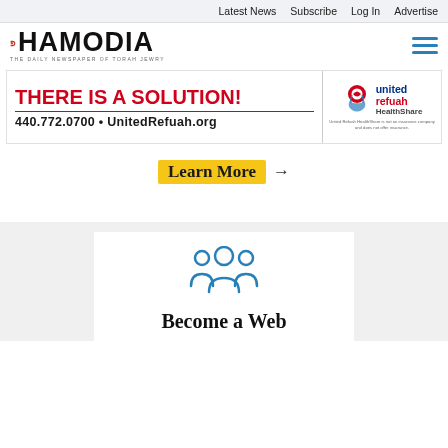Latest News  Subscribe  Log In  Advertise
[Figure (logo): Hamodia logo - The Daily Newspaper of Torah Jewry]
[Figure (illustration): Hamburger menu icon (three horizontal blue lines)]
[Figure (infographic): United Refuah HealthShare advertisement banner: THERE IS A SOLUTION! 440.772.0700 • UnitedRefuah.org with United Refuah HealthShare logo and disclaimer text]
Learn More →
[Figure (illustration): Group/community icon showing three people silhouettes in blue outline style]
Become a Web